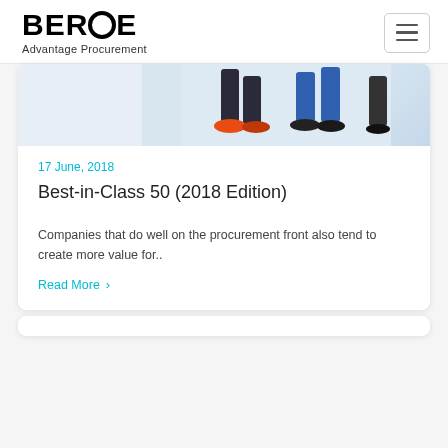BEROE Advantage Procurement
[Figure (illustration): Cropped photo of two people walking — visible from waist down, one wearing orange shoes and dark trousers, one wearing blue trousers and dark shoes, light blue background]
17 June, 2018
Best-in-Class 50 (2018 Edition)
Companies that do well on the procurement front also tend to create more value for..
Read More  ›